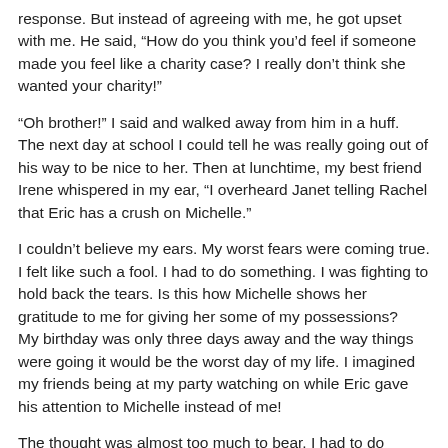response. But instead of agreeing with me, he got upset with me. He said, “How do you think you’d feel if someone made you feel like a charity case? I really don’t think she wanted your charity!”
“Oh brother!” I said and walked away from him in a huff. The next day at school I could tell he was really going out of his way to be nice to her. Then at lunchtime, my best friend Irene whispered in my ear, “I overheard Janet telling Rachel that Eric has a crush on Michelle.”
I couldn’t believe my ears. My worst fears were coming true. I felt like such a fool. I had to do something. I was fighting to hold back the tears. Is this how Michelle shows her gratitude to me for giving her some of my possessions?
My birthday was only three days away and the way things were going it would be the worst day of my life. I imagined my friends being at my party watching on while Eric gave his attention to Michelle instead of me!
The thought was almost too much to bear. I had to do something. I wasn’t sure what I was going to do; I just knew I had to do something. I barely listened during the rest of the school. All I could think of was coming up with a way to turn